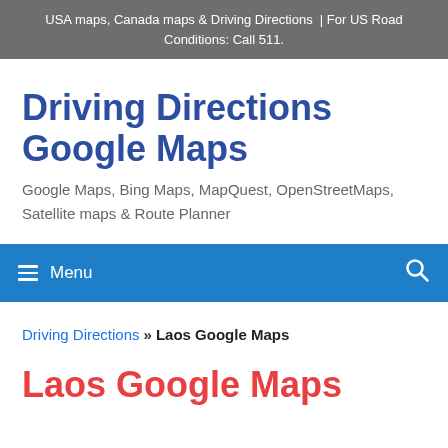USA maps, Canada maps & Driving Directions  | For US Road Conditions: Call 511.
Driving Directions Google Maps
Google Maps, Bing Maps, MapQuest, OpenStreetMaps, Satellite maps & Route Planner
≡ Menu
Driving Directions » Laos Google Maps
Laos Google Maps